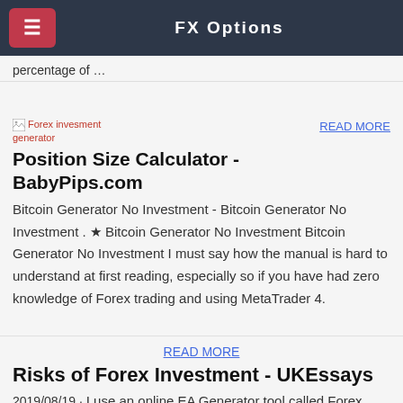FX Options
percentage of …
[Figure (other): Forex invesment generator placeholder image]
READ MORE
Position Size Calculator - BabyPips.com
Bitcoin Generator No Investment - Bitcoin Generator No Investment . ★ Bitcoin Generator No Investment Bitcoin Generator No Investment I must say how the manual is hard to understand at first reading, especially so if you have had zero knowledge of Forex trading and using MetaTrader 4.
READ MORE
Risks of Forex Investment - UKEssays
2019/08/19 · I use an online EA Generator tool called Forex Robot Factory. It is one of the best and fastest ways to create trading systems. It is one of the best and fastest ways to create trading